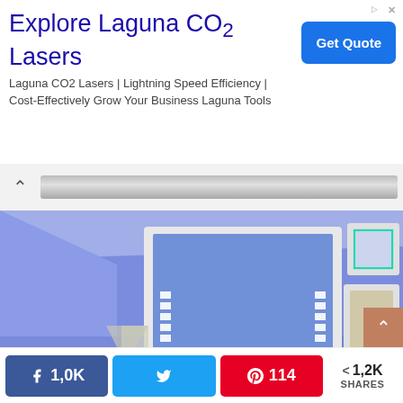[Figure (screenshot): Advertisement banner for Laguna CO2 Lasers with title, body text, and Get Quote button]
Explore Laguna CO2 Lasers
Laguna CO2 Lasers | Lightning Speed Efficiency | Cost-Effectively Grow Your Business Laguna Tools
[Figure (photo): Interior room with blue/purple walls featuring illuminated LED mirrors mounted on the wall]
1,0K
114
< 1,2K SHARES